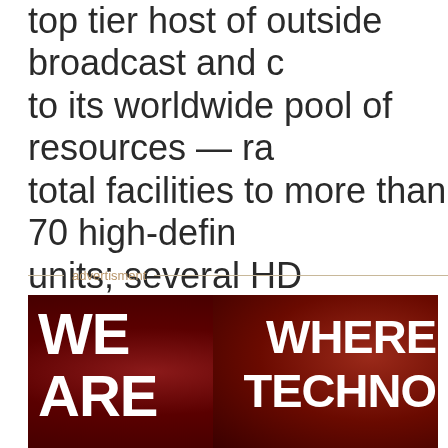top tier host of outside broadcast and ... to its worldwide pool of resources — ra... total facilities to more than 70 high-defin... units; several HD flypacks; studios in Lo... New York, London, Cardiff, Sydney, and... thousands of plasma, LED, and projecti... display solutions; and a large team of i... engineering and technical experts.
advertisment
[Figure (illustration): Advertisement banner with dark red background showing partial text: 'WE ARE' on the left and 'WHERE TECHNO...' on the right in large bold white letters.]